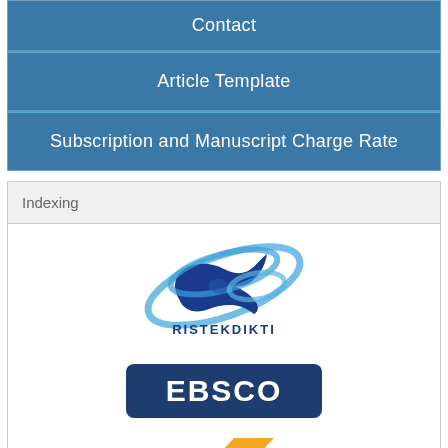Contact
Article Template
Subscription and Manuscript Charge Rate
Indexing
[Figure (logo): RISTEKDIKTI logo — blue stylized satellite/globe icon above text RISTEKDIKTI]
[Figure (logo): EBSCO logo — white text on dark blue rounded rectangle]
[Figure (logo): Crossref INDEXED IN logo — colorful triangular chevrons with text Crossref INDEXED IN DOA...]